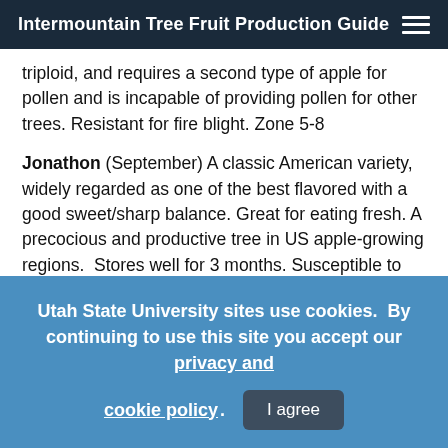Intermountain Tree Fruit Production Guide
triploid, and requires a second type of apple for pollen and is incapable of providing pollen for other trees. Resistant for fire blight. Zone 5-8
Jonathon (September) A classic American variety, widely regarded as one of the best flavored with a good sweet/sharp balance. Great for eating fresh. A precocious and productive tree in US apple-growing regions.  Stores well for 3 months. Susceptible to fire blight
Liberty (September) Fruit is a deep dark red over a yellow
Utah State University sites use cookies.  By continuing to use this site you accept our privacy and cookie policy.